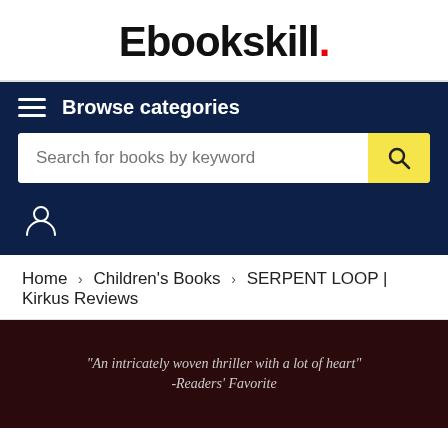Ebookskill.
Browse categories
Search for books by keyword
Home › Children's Books › SERPENT LOOP | Kirkus Reviews
[Figure (illustration): Dark book banner with an italic quote: "An intricately woven thriller with a lot of heart" -Readers' Favorite]